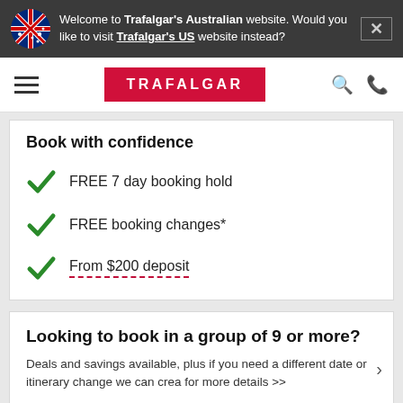Welcome to Trafalgar's Australian website. Would you like to visit Trafalgar's US website instead?
[Figure (logo): Trafalgar logo in red rectangle with white text]
Book with confidence
FREE 7 day booking hold
FREE booking changes*
From $200 deposit
Looking to book in a group of 9 or more?
Deals and savings available, plus if you need a different date or itinerary change we can crea for more details >>
Book a Video Appointment